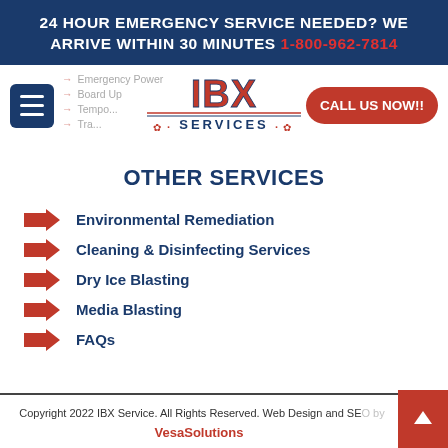24 HOUR EMERGENCY SERVICE NEEDED? WE ARRIVE WITHIN 30 MINUTES 1-800-962-7814
[Figure (logo): IBX Services logo with red bold text and maple leaf decorations]
OTHER SERVICES
Environmental Remediation
Cleaning & Disinfecting Services
Dry Ice Blasting
Media Blasting
FAQs
Copyright 2022 IBX Service. All Rights Reserved. Web Design and SEO by VesaSolutions